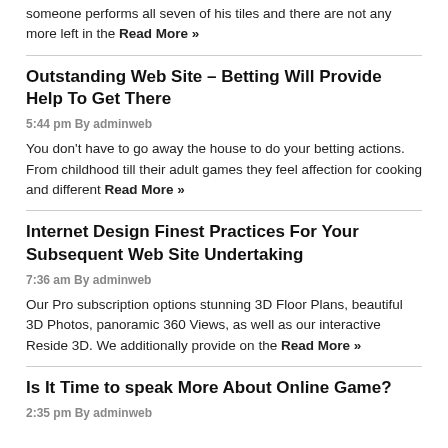someone performs all seven of his tiles and there are not any more left in the Read More »
Outstanding Web Site – Betting Will Provide Help To Get There
5:44 pm By adminweb
You don't have to go away the house to do your betting actions. From childhood till their adult games they feel affection for cooking and different Read More »
Internet Design Finest Practices For Your Subsequent Web Site Undertaking
7:36 am By adminweb
Our Pro subscription options stunning 3D Floor Plans, beautiful 3D Photos, panoramic 360 Views, as well as our interactive Reside 3D. We additionally provide on the Read More »
Is It Time to speak More About Online Game?
2:35 pm By adminweb